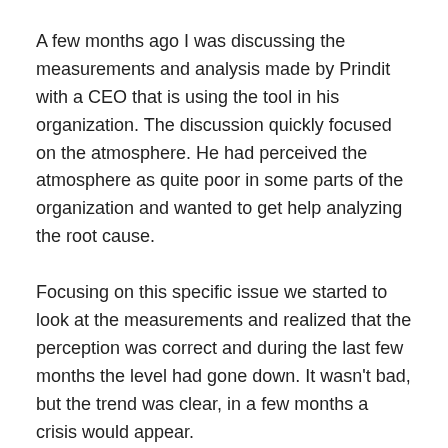A few months ago I was discussing the measurements and analysis made by Prindit with a CEO that is using the tool in his organization. The discussion quickly focused on the atmosphere. He had perceived the atmosphere as quite poor in some parts of the organization and wanted to get help analyzing the root cause.
Focusing on this specific issue we started to look at the measurements and realized that the perception was correct and during the last few months the level had gone down. It wasn't bad, but the trend was clear, in a few months a crisis would appear.
So, this was really an issue to handle and to find the root cause. And this is where the real value comes in when you gather data continuously over time from all employees in